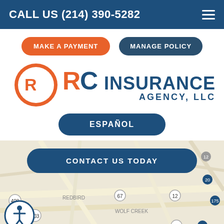CALL US (214) 390-5282
MAKE A PAYMENT
MANAGE POLICY
[Figure (logo): RC Insurance Agency LLC logo — circular orange/blue RC icon with text RC INSURANCE AGENCY, LLC]
ESPAÑOL
[Figure (map): Google Maps view showing Oak Cliff, Redbird, Wolf Creek, Duncanville, Hutchins, Balch area in Dallas, TX]
CONTACT US TODAY
[Figure (illustration): Accessibility icon — person in circle]